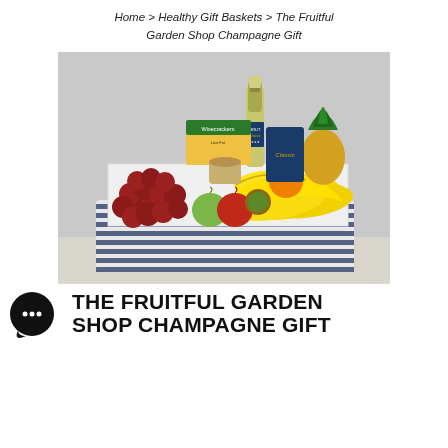Home > Healthy Gift Baskets > The Fruitful Garden Shop Champagne Gift
[Figure (photo): A white and navy striped woven gift basket filled with fruits (red grapes, green apple, red apple, bananas, kiwi, orange, pineapple), a champagne bottle, a blue bag labeled 'Classic', a box of Wisecrackers, and a jar, arranged on a light surface against a gray background.]
THE FRUITFUL GARDEN SHOP CHAMPAGNE GIFT